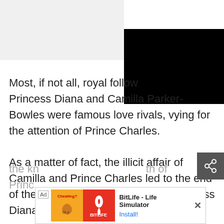[Figure (photo): Top area showing a light gray image on the left and a black image/video on the right]
Most, if not all, royal follow[ers knew that] Princess Diana and Camilla Parker-Bowles were famous love rivals, vying for the attention of Prince Charles.
As a matter of fact, the illicit affair of Camilla and Prince Charles led to the end of the latter's marriage to the late Princess Diana. They tied the k[not in secret with the k]nowledge of Princ[e...
[Figure (screenshot): Advertisement banner for BitLife - Life Simulator app with Cheating? themed icon and Install button]